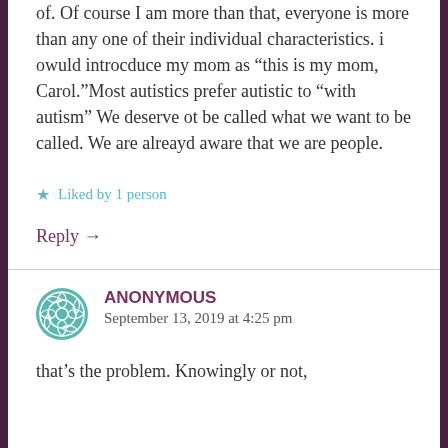of. Of course I am more than that, everyone is more than any one of their individual characteristics. i owuld introcduce my mom as “this is my mom, Carol.”Most autistics prefer autistic to “with autism” We deserve ot be called what we want to be called. We are alreayd aware that we are people.
★ Liked by 1 person
Reply →
ANONYMOUS
September 13, 2019 at 4:25 pm
that’s the problem. Knowingly or not,